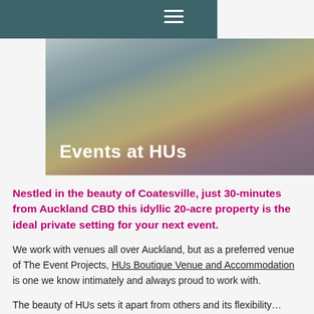≡
[Figure (photo): Blurred outdoor photo of a property with trees and buildings, serving as a hero banner image with title 'Events at HUs' overlaid in white text at the bottom left.]
Events at HUs
Nestled in the beauty of Coatesville, just 30-minutes from Auckland CBD this idyllic 20-acre property is the ideal private setting for your next event.
We work with venues all over Auckland, but as a preferred venue of The Event Projects, HUs Boutique Venue and Accommodation is one we know intimately and always proud to work with.
The beauty of HUs sets it apart from others and its flexibility…